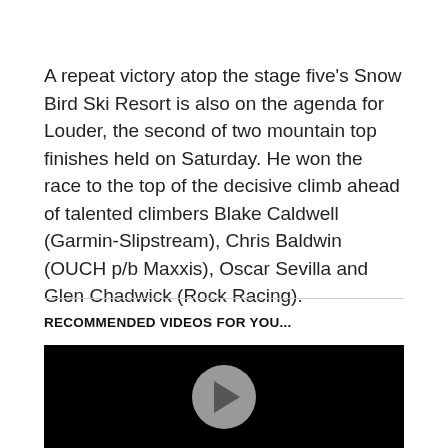A repeat victory atop the stage five's Snow Bird Ski Resort is also on the agenda for Louder, the second of two mountain top finishes held on Saturday. He won the race to the top of the decisive climb ahead of talented climbers Blake Caldwell (Garmin-Slipstream), Chris Baldwin (OUCH p/b Maxxis), Oscar Sevilla and Glen Chadwick (Rock Racing).
RECOMMENDED VIDEOS FOR YOU...
[Figure (screenshot): A dark/black video thumbnail with a circular play button in the center]